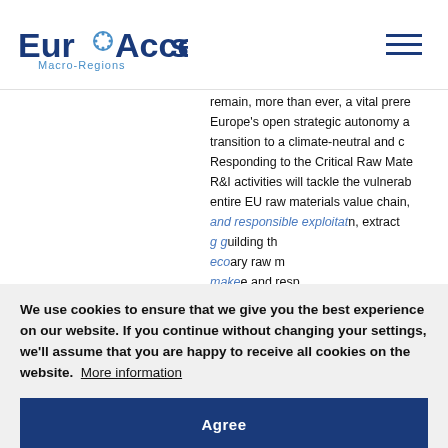EuroAccess Macro-Regions
remain, more than ever, a vital prere Europe’s open strategic autonomy a transition to a climate-neutral and c Responding to the Critical Raw Mate R&I activities will tackle the vulnerab entire EU raw materials value chain, and responsible exploitation, extract building th ary raw m e and resp e sustaina need to meet the chall ges of cli nomy and benefits i al and rela production is expected to double glo
We use cookies to ensure that we give you the best experience on our website. If you continue without changing your settings, we’ll assume that you are happy to receive all cookies on the website. More information
Agree